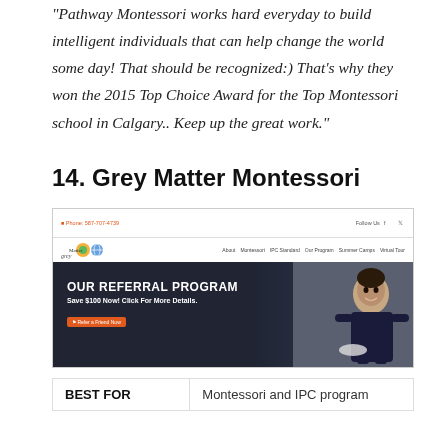“Pathway Montessori works hard everyday to build intelligent individuals that can help change the world some day! That should be recognized:) That’s why they won the 2015 Top Choice Award for the Top Montessori school in Calgary.. Keep up the great work.”
14. Grey Matter Montessori
[Figure (screenshot): Screenshot of Grey Matter Montessori website showing navigation bar with phone number and Follow Us social links, logo with sun and IPC globe icon, nav links (About, Montessori, IPC Standard, Our Program, Summer Camps, Virtual Tour), and a hero banner with text 'OUR REFERRAL PROGRAM - Save $100 Now! Click For More Details.' with a referral button and a photo of a young girl in school uniform]
| BEST FOR | Montessori and IPC program |